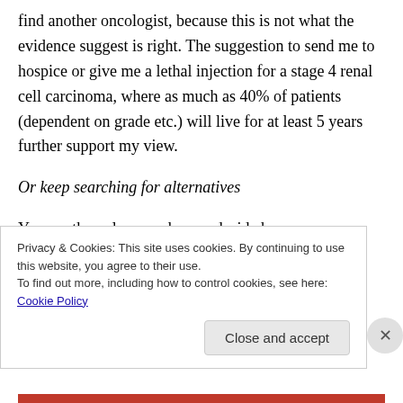find another oncologist, because this is not what the evidence suggest is right. The suggestion to send me to hospice or give me a lethal injection for a stage 4 renal cell carcinoma, where as much as 40% of patients (dependent on grade etc.) will live for at least 5 years further support my view.
Or keep searching for alternatives
You are the only one who can decide how you
Privacy & Cookies: This site uses cookies. By continuing to use this website, you agree to their use.
To find out more, including how to control cookies, see here: Cookie Policy